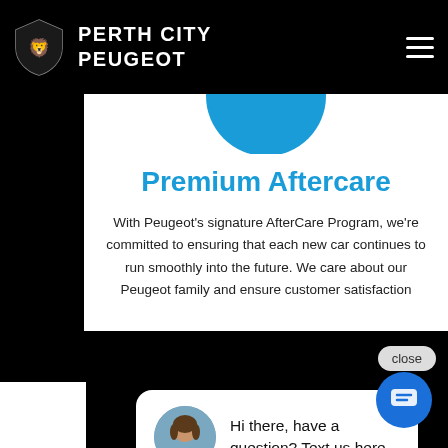PERTH CITY PEUGEOT
Premium Aftercare
With Peugeot’s signature AfterCare Program, we’re committed to ensuring that each new car continues to run smoothly into the future. We care about our Peugeot family and ensure customer satisfaction
[Figure (screenshot): Chat popup overlay with avatar photo of a woman and text: Hi there, have a question? Text us here.]
[Figure (screenshot): Blue chat icon button in bottom right corner. Loading spinner visible above it.]